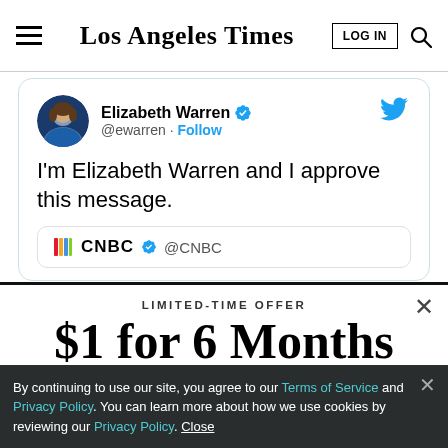Los Angeles Times
[Figure (screenshot): Tweet by Elizabeth Warren (@ewarren) with verified badge and Follow link. Tweet text: I'm Elizabeth Warren and I approve this message. Shows a CNBC @CNBC embed preview below the tweet text.]
LIMITED-TIME OFFER
$1 for 6 Months
SUBSCRIBE NOW
By continuing to use our site, you agree to our Terms of Service and Privacy Policy. You can learn more about how we use cookies by reviewing our Privacy Policy. Close